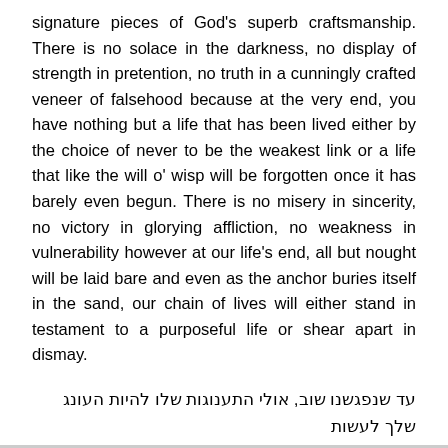signature pieces of God's superb craftsmanship. There is no solace in the darkness, no display of strength in pretention, no truth in a cunningly crafted veneer of falsehood because at the very end, you have nothing but a life that has been lived either by the choice of never to be the weakest link or a life that like the will o' wisp will be forgotten once it has barely even begun. There is no misery in sincerity, no victory in glorying affliction, no weakness in vulnerability however at our life's end, all but nought will be laid bare and even as the anchor buries itself in the sand, our chain of lives will either stand in testament to a purposeful life or shear apart in dismay.
עד שנפגשנו שוב, אולי התענוגות שלו להיות העונג שלך לעשות
Adios!